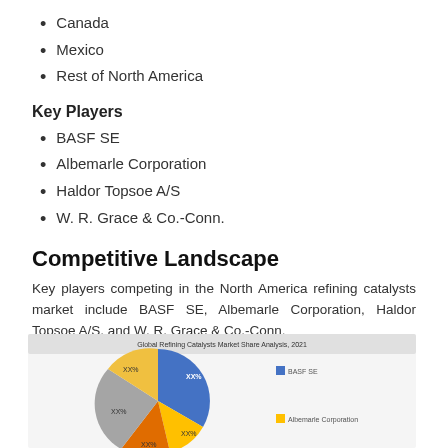Canada
Mexico
Rest of North America
Key Players
BASF SE
Albemarle Corporation
Haldor Topsoe A/S
W. R. Grace & Co.-Conn.
Competitive Landscape
Key players competing in the North America refining catalysts market include BASF SE, Albemarle Corporation, Haldor Topsoe A/S, and W. R. Grace & Co.-Conn.
[Figure (pie-chart): Pie chart showing Global Refining Catalysts Market Share Analysis 2021 with BASF SE and Albemarle Corporation labeled in legend]